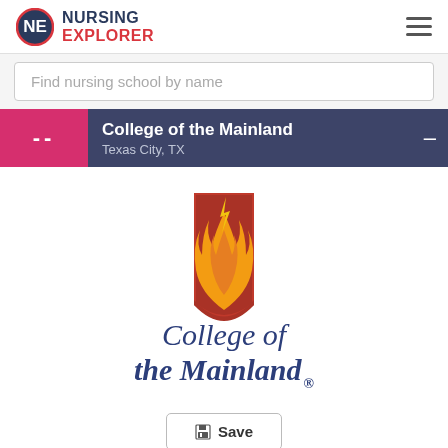NURSING EXPLORER
Find nursing school by name
College of the Mainland
Texas City, TX
[Figure (logo): College of the Mainland logo: a red shield with orange and yellow flame, and text 'College of the Mainland' in dark blue serif font]
Save
Student Population
Small